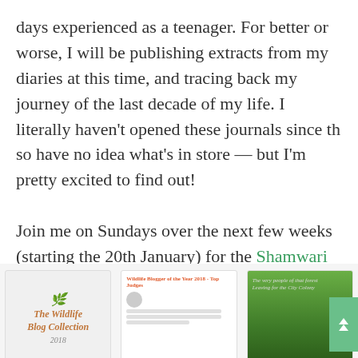days experienced as a teenager. For better or worse, I will be publishing extracts from my diaries at this time, and tracing back my journey of the last decade of my life. I literally haven't opened these journals since th so have no idea what's in store — but I'm pretty excited to find out!

Join me on Sundays over the next few weeks (starting the 20th January) for the Shamwari series... Gulp! You can read Part 1 here.
[Figure (illustration): Three promotional image cards at the bottom: a Wildlife Blog Collection book cover, a blog post preview card with avatar, and a forest landscape photo.]